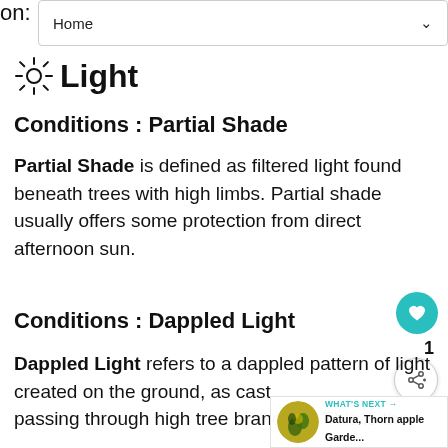on:
Home
Light
Conditions : Partial Shade
Partial Shade is defined as filtered light found beneath trees with high limbs. Partial shade usually offers some protection from direct afternoon sun.
Conditions : Dappled Light
Dappled Light refers to a dappled pattern of light created on the ground, as cast passing through high tree branches. This is the
[Figure (other): What's Next callout with image of Datura, Thorn apple garden plant]
WHAT'S NEXT → Datura, Thorn apple Garde...